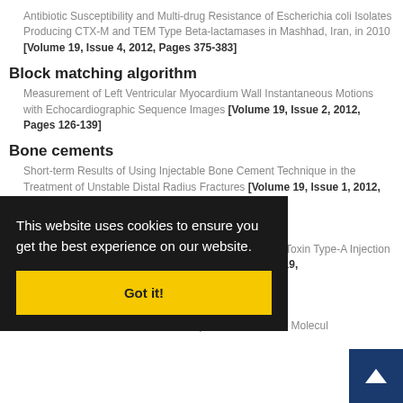Antibiotic Susceptibility and Multi-drug Resistance of Escherichia coli Isolates Producing CTX-M and TEM Type Beta-lactamases in Mashhad, Iran, in 2010 [Volume 19, Issue 4, 2012, Pages 375-383]
Block matching algorithm
Measurement of Left Ventricular Myocardium Wall Instantaneous Motions with Echocardiographic Sequence Images [Volume 19, Issue 2, 2012, Pages 126-139]
Bone cements
Short-term Results of Using Injectable Bone Cement Technique in the Treatment of Unstable Distal Radius Fractures [Volume 19, Issue 1, 2012, Pages 1-10]
Botulinum toxin type A
The Effect of Foot Serial Casting Along with Botulinum Toxin Type-A Injection on Spasticity in Children with Cerebral Palsy [Volume 19, ...
...mong Less than 5 [Volume 19, ...
Evaluation of Nucleostemin Gene Expression as a New Molecul...
This website uses cookies to ensure you get the best experience on our website.
Got it!